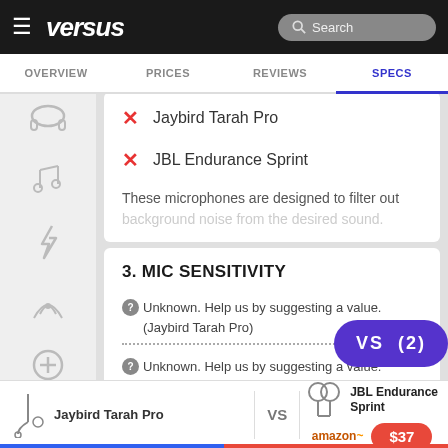versus — Search
OVERVIEW  PRICES  REVIEWS  SPECS
✗ Jaybird Tarah Pro
✗ JBL Endurance Sprint
These microphones are designed to filter out background noise from the desired sound.
3. MIC SENSITIVITY
Unknown. Help us by suggesting a value. (Jaybird Tarah Pro)
Unknown. Help us by suggesting a value. (JBL Endurance Sprint)
Jaybird Tarah Pro  VS  JBL Endurance Sprint  $37